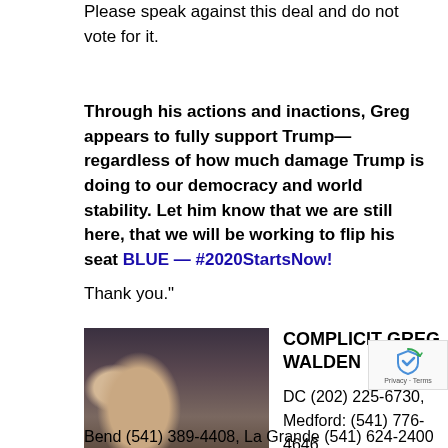Please speak against this deal and do not vote for it.
Through his actions and inactions, Greg appears to fully support Trump—regardless of how much damage Trump is doing to our democracy and world stability. Let him know that we are still here, that we will be working to flip his seat BLUE — #2020StartsNow!
Thank you."
[Figure (photo): Two men in suits sitting at a table in conversation, appears to be in a formal meeting room with American flags in background]
COMPLICIT GREG WALDEN

DC (202) 225-6730, Medford: (541) 776-4646
Bend (541) 389-4408, La Grande (541) 624-2400